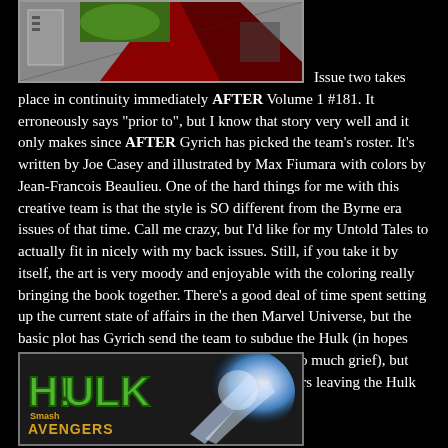[Figure (illustration): Comic book cover image showing a character with red hair/cape and green elements, partially visible at top left]
Issue two takes place in continuity immediately AFTER Volume 1 #181. It erroneously says "prior to", but I know that story very well and it only makes since AFTER Gyrich has picked the team's roster. It's written by Joe Casey and illustrated by Max Fiumara with colors by Jean-Francois Beaulieu. One of the hard things for me with this creative team is that the style is SO different from the Byrne era issues of that time. Call me crazy, but I'd like for my Untold Tales to actually fit in nicely with my back issues. Still, if you take it by itself, the art is very moody and enjoyable with the coloring really bringing the book together. There's a good deal of time spent setting up the current state of affairs in the then Marvel Universe, but the basic plot has Gyrich send the team to subdue the Hulk (in hopes that they get their butts kicked for giving him so much grief), but here the battle ends peacefully with the Avengers leaving the Hulk alone.
[Figure (illustration): Hulk Smash Avengers comic book cover image showing the Hulk logo in green letters and a light burst effect, partially visible at bottom left]